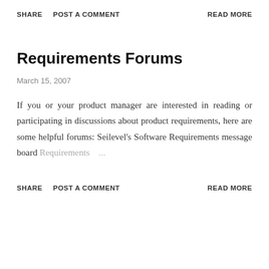SHARE   POST A COMMENT   READ MORE
Requirements Forums
March 15, 2007
If you or your product manager are interested in reading or participating in discussions about product requirements, here are some helpful forums: Seilevel's Software Requirements message board Requirements ...
SHARE   POST A COMMENT   READ MORE